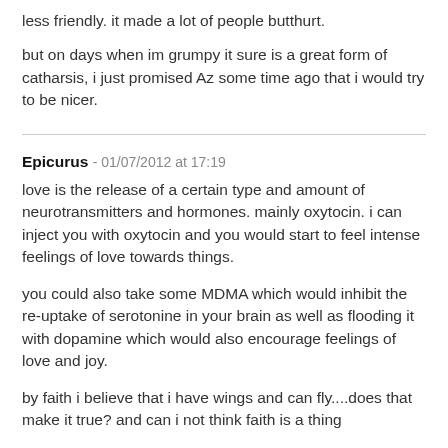less friendly. it made a lot of people butthurt.
but on days when im grumpy it sure is a great form of catharsis, i just promised Az some time ago that i would try to be nicer.
Epicurus - 01/07/2012 at 17:19
love is the release of a certain type and amount of neurotransmitters and hormones. mainly oxytocin. i can inject you with oxytocin and you would start to feel intense feelings of love towards things.
you could also take some MDMA which would inhibit the re-uptake of serotonine in your brain as well as flooding it with dopamine which would also encourage feelings of love and joy.
by faith i believe that i have wings and can fly....does that make it true? and can i not think faith is a thing